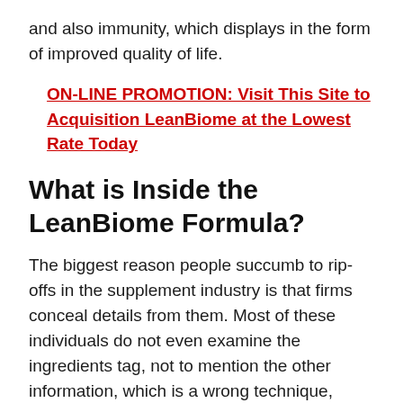and also immunity, which displays in the form of improved quality of life.
ON-LINE PROMOTION: Visit This Site to Acquisition LeanBiome at the Lowest Rate Today
What is Inside the LeanBiome Formula?
The biggest reason people succumb to rip-offs in the supplement industry is that firms conceal details from them. Most of these individuals do not even examine the ingredients tag, not to mention the other information, which is a wrong technique, according to health specialists. One